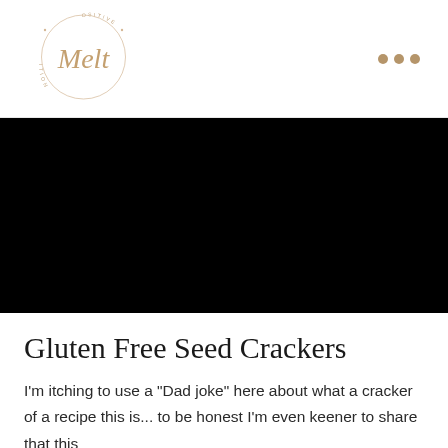Melt Nutrition
[Figure (photo): Black hero image / video placeholder]
Gluten Free Seed Crackers
I'm itching to use a "Dad joke" here about what a cracker of a recipe this is... to be honest I'm even keener to share that this